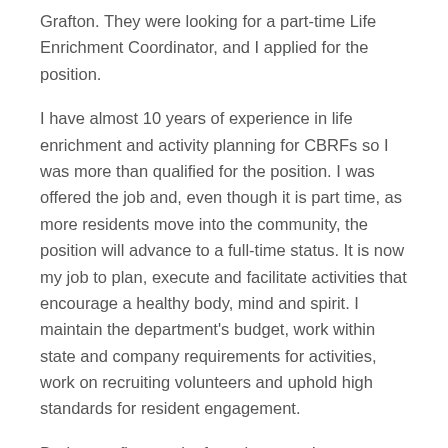Grafton. They were looking for a part-time Life Enrichment Coordinator, and I applied for the position.
I have almost 10 years of experience in life enrichment and activity planning for CBRFs so I was more than qualified for the position. I was offered the job and, even though it is part time, as more residents move into the community, the position will advance to a full-time status. It is now my job to plan, execute and facilitate activities that encourage a healthy body, mind and spirit. I maintain the department's budget, work within state and company requirements for activities, work on recruiting volunteers and uphold high standards for resident engagement.
During my first week of employment, I was informed that as the community population increases, the